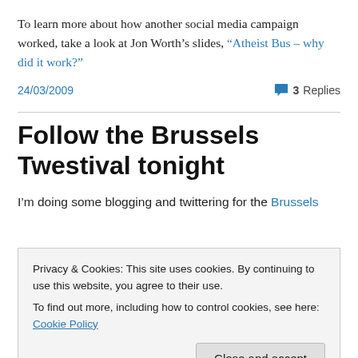To learn more about how another social media campaign worked, take a look at Jon Worth's slides, “Atheist Bus – why did it work?”
24/03/2009    3 Replies
Follow the Brussels Twestival tonight
I’m doing some blogging and twittering for the Brussels
Privacy & Cookies: This site uses cookies. By continuing to use this website, you agree to their use.
To find out more, including how to control cookies, see here: Cookie Policy
Close and accept